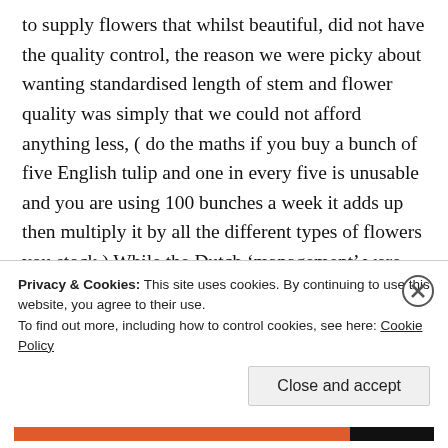to supply flowers that whilst beautiful, did not have the quality control, the reason we were picky about wanting standardised length of stem and flower quality was simply that we could not afford anything less, ( do the maths if you buy a bunch of five English tulip and one in every five is unusable and you are using 100 bunches a week it adds up then multiply it by all the different types of flowers you stock.) While the Dutch ‘management’ were giving us some business sense, the big guys in Dutch trucks were delivering the product to our shop floor. For all the sumptuous images in the
Privacy & Cookies: This site uses cookies. By continuing to use this website, you agree to their use.
To find out more, including how to control cookies, see here: Cookie Policy
Close and accept